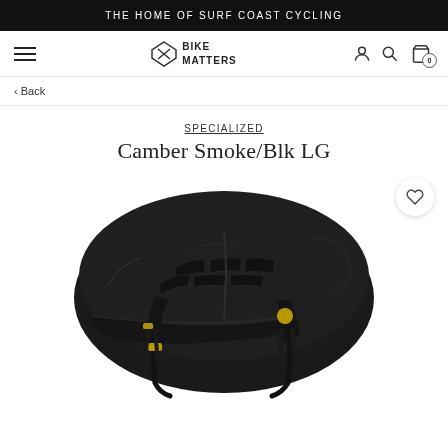THE HOME OF SURF COAST CYCLING
[Figure (logo): Bike Matters logo with geometric arrow/triangle icon and text 'BIKE MATTERS']
< Back
SPECIALIZED
Camber Smoke/Blk LG
[Figure (photo): A dark matte black cycling helmet (Specialized Camber) shown in profile view against a white background. The helmet features multiple vents, a visor, yellow MIPS accents, and chin strap hardware. A heart/wishlist icon button is overlaid in the top right corner.]